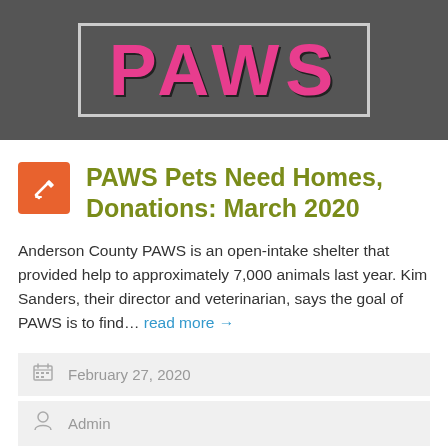[Figure (logo): PAWS logo in large pink text on dark gray banner background with a bordered box]
PAWS Pets Need Homes, Donations: March 2020
Anderson County PAWS is an open-intake shelter that provided help to approximately 7,000 animals last year. Kim Sanders, their director and veterinarian, says the goal of PAWS is to find… read more →
February 27, 2020
Admin
News Briefs